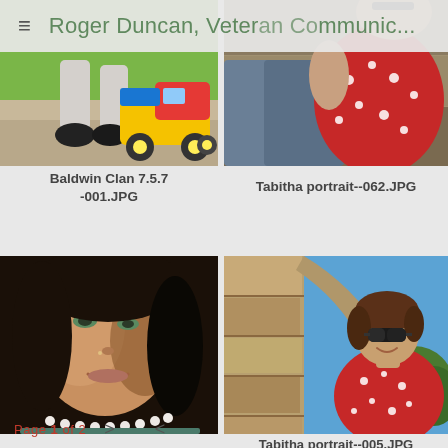≡ Roger Duncan, Veteran Communic...
[Figure (photo): Child sitting on steps with a colorful toy dump truck (yellow, red, blue). Child wearing sandals, grass background.]
Baldwin Clan 7.5.7 -001.JPG
[Figure (photo): Woman in red polka-dot dress sitting on stone steps, viewed from below, wearing sunglasses on top of head.]
Tabitha portrait--062.JPG
[Figure (photo): Close-up portrait of a young woman with pearl necklace, dark background, soft lighting.]
[Figure (photo): Woman in red polka-dot dress standing near stone arch with blue sky, wearing large sunglasses, short hair.]
Tabitha portrait--005.JPG
Page 1 of 2